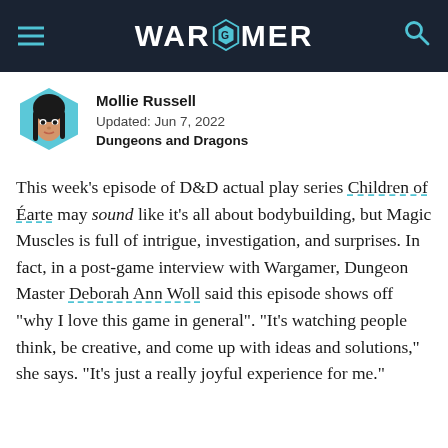WARGAMER
[Figure (illustration): Hexagonal avatar portrait of Mollie Russell, illustrated style, with teal/blue background]
Mollie Russell
Updated: Jun 7, 2022
Dungeons and Dragons
This week's episode of D&D actual play series Children of Éarte may sound like it's all about bodybuilding, but Magic Muscles is full of intrigue, investigation, and surprises. In fact, in a post-game interview with Wargamer, Dungeon Master Deborah Ann Woll said this episode shows off "why I love this game in general". "It's watching people think, be creative, and come up with ideas and solutions," she says. "It's just a really joyful experience for me."